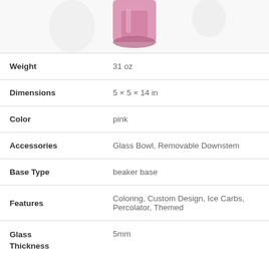[Figure (photo): Product photo of a pink glass bong/water pipe with beaker base, partially cropped at top of page]
| Attribute | Value |
| --- | --- |
| Weight | 31 oz |
| Dimensions | 5 × 5 × 14 in |
| Color | pink |
| Accessories | Glass Bowl, Removable Downstem |
| Base Type | beaker base |
| Features | Coloring, Custom Design, Ice Carbs, Percolator, Themed |
| Glass Thickness | 5mm |